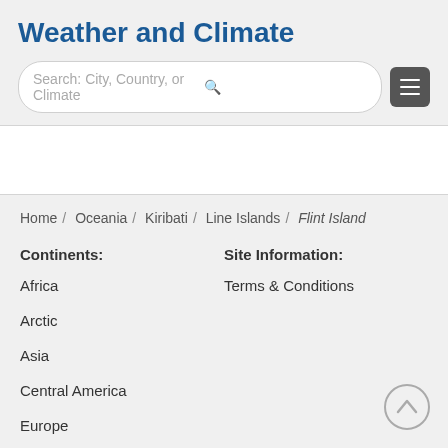Weather and Climate
Search: City, Country, or Climate
Home / Oceania / Kiribati / Line Islands / Flint Island
Continents:
Site Information:
Africa
Terms & Conditions
Arctic
Asia
Central America
Europe